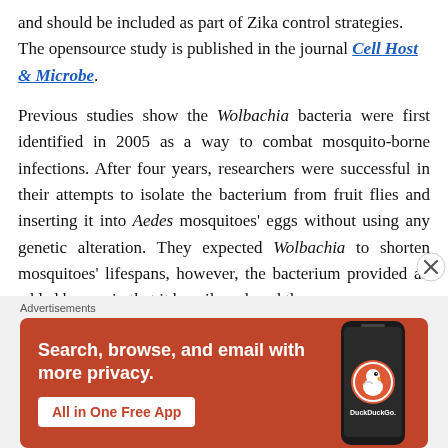and should be included as part of Zika control strategies. The opensource study is published in the journal Cell Host & Microbe.
Previous studies show the Wolbachia bacteria were first identified in 2005 as a way to combat mosquito-borne infections. After four years, researchers were successful in their attempts to isolate the bacterium from fruit flies and inserting it into Aedes mosquitoes' eggs without using any genetic alteration. They expected Wolbachia to shorten mosquitoes' lifespans, however, the bacterium provided an added bonus, in that it heavily reduced the
[Figure (screenshot): DuckDuckGo advertisement banner: orange/red background with text 'Search, browse, and email with more privacy. All in One Free App' and a phone image showing the DuckDuckGo app logo]